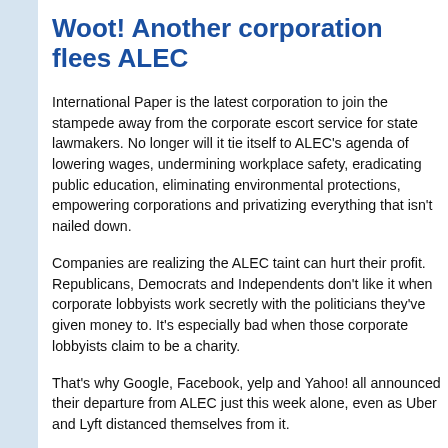Woot! Another corporation flees ALEC
International Paper is the latest corporation to join the stampede away from the corporate escort service for state lawmakers. No longer will it tie itself to ALEC's agenda of lowering wages, undermining workplace safety, eradicating public education, eliminating environmental protections, empowering corporations and privatizing everything that isn't nailed down.
Companies are realizing the ALEC taint can hurt their profit. Republicans, Democrats and Independents don't like it when corporate lobbyists work secretly with the politicians they've given money to. It's especially bad when those corporate lobbyists claim to be a charity.
That's why Google, Facebook, yelp and Yahoo! all announced their departure from ALEC just this week alone, even as Uber and Lyft distanced themselves from it.
As Ragan's PR Daily points out,
Study after study finds consumers are making conscious c